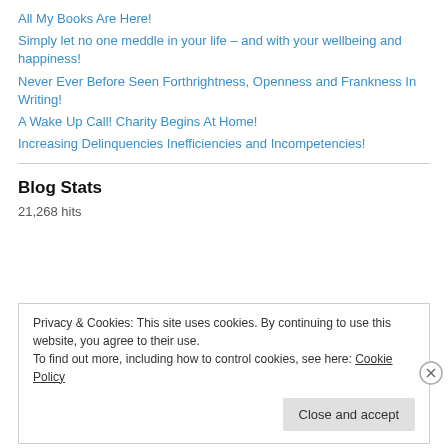All My Books Are Here!
Simply let no one meddle in your life – and with your wellbeing and happiness!
Never Ever Before Seen Forthrightness, Openness and Frankness In Writing!
A Wake Up Call! Charity Begins At Home!
Increasing Delinquencies Inefficiencies and Incompetencies!
Blog Stats
21,268 hits
Privacy & Cookies: This site uses cookies. By continuing to use this website, you agree to their use.
To find out more, including how to control cookies, see here: Cookie Policy